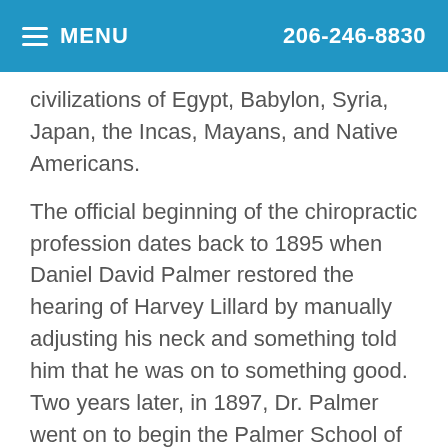MENU  206-246-8830
civilizations of Egypt, Babylon, Syria, Japan, the Incas, Mayans, and Native Americans.
The official beginning of the chiropractic profession dates back to 1895 when Daniel David Palmer restored the hearing of Harvey Lillard by manually adjusting his neck and something told him that he was on to something good. Two years later, in 1897, Dr. Palmer went on to begin the Palmer School of Chiropractic in Davenport, Iowa, which continues to train doctors of chiropractic to this day.
Throughout the twentieth century, the profession of chiropractic has gained considerable recognition and scientific support. Research studies that have clearly